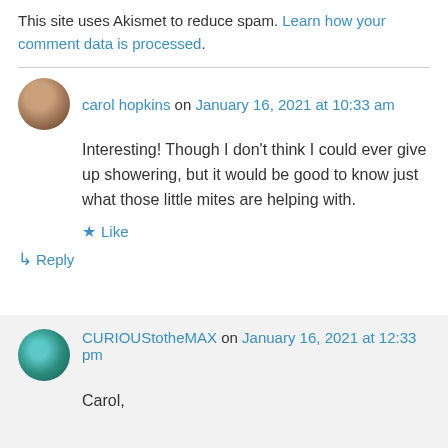This site uses Akismet to reduce spam. Learn how your comment data is processed.
carol hopkins on January 16, 2021 at 10:33 am
Interesting! Though I don't think I could ever give up showering, but it would be good to know just what those little mites are helping with.
★ Like
↳ Reply
CURIOUStotheMAX on January 16, 2021 at 12:33 pm
Carol,